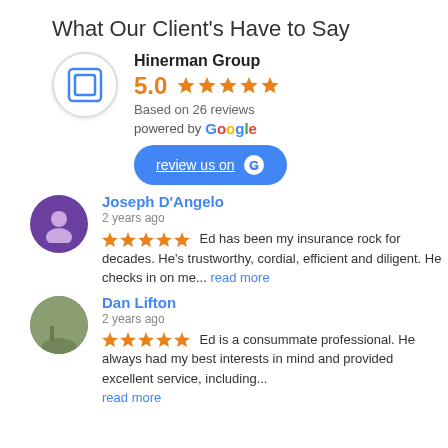What Our Client's Have to Say
Hinerman Group
5.0 ★★★★★
Based on 26 reviews
powered by Google
review us on G
Joseph D'Angelo
2 years ago
★★★★★ Ed has been my insurance rock for decades. He's trustworthy, cordial, efficient and diligent. He checks in on me... read more
Dan Lifton
2 years ago
★★★★★ Ed is a consummate professional.  He always had my best interests in mind and provided excellent service, including...
read more